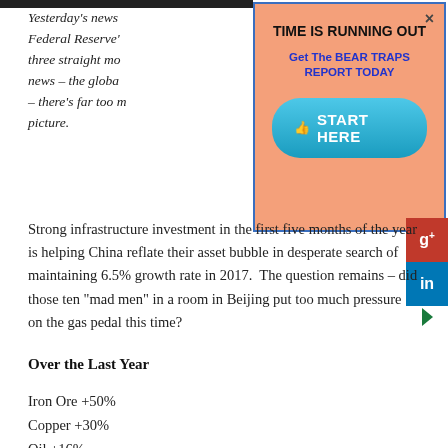Yesterday's news – the Federal Reserve's three straight months news – the global – there's far too much picture.
[Figure (infographic): Popup advertisement overlay with salmon/peach background and blue border. Title: TIME IS RUNNING OUT. Subtitle: Get The BEAR TRAPS REPORT TODAY. Button: START HERE with thumbs up icon. Close (×) button in top right.]
Strong infrastructure investment in the first five months of the year is helping China reflate their asset bubble in desperate search of maintaining 6.5% growth rate in 2017.  The question remains – did those ten "mad men" in a room in Beijing put too much pressure on the gas pedal this time?
Over the Last Year
Iron Ore +50%
Copper +30%
Oil +16%